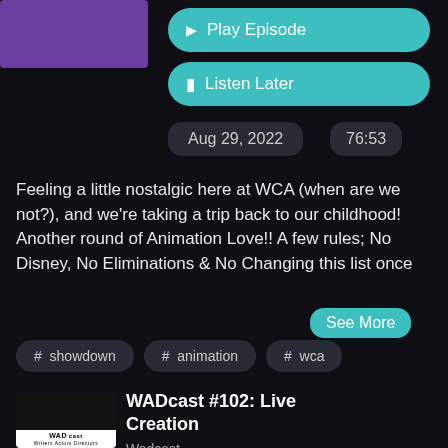[Figure (screenshot): Partial purple podcast thumbnail at top left]
▶ Play Episode
🔖 Listen Later
Aug 29, 2022
76:53
Feeling a little nostalgic here at WCA (when are we not?), and we're taking a trip back to our childhood! Another round of Animation Love!! A few rules; No Disney, No Eliminations & No Changing this list once
See More
# showdown
# animation
# wca
[Figure (logo): WADcast logo - Writers Actors Directors]
WADcast #102: Live Creation
Wadcast